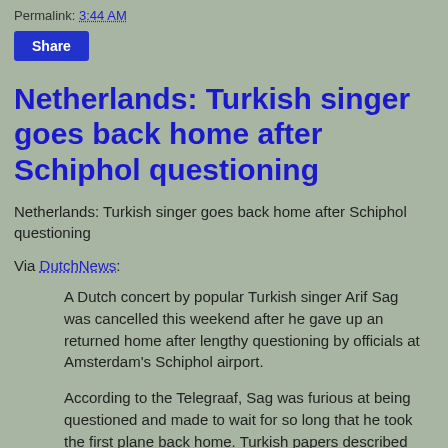Permalink: 3:44 AM
Share
Netherlands: Turkish singer goes back home after Schiphol questioning
Netherlands: Turkish singer goes back home after Schiphol questioning
Via DutchNews:
A Dutch concert by popular Turkish singer Arif Sag was cancelled this weekend after he gave up an returned home after lengthy questioning by officials at Amsterdam's Schiphol airport.
According to the Telegraaf, Sag was furious at being questioned and made to wait for so long that he took the first plane back home. Turkish papers described his treatment as 'scandalous', the Telegraaf said.